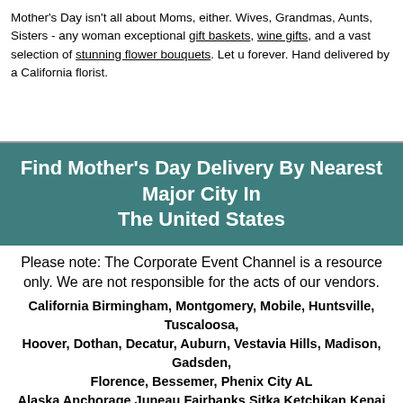Mother's Day isn't all about Moms, either. Wives, Grandmas, Aunts, Sisters - any woman exceptional gift baskets, wine gifts, and a vast selection of stunning flower bouquets. Let u forever. Hand delivered by a California florist.
Find Mother's Day Delivery By Nearest Major City In The United States
Please note: The Corporate Event Channel is a resource only. We are not responsible for the acts of our vendors.
California Birmingham, Montgomery, Mobile, Huntsville, Tuscaloosa, Hoover, Dothan, Decatur, Auburn, Vestavia Hills, Madison, Gadsden, Florence, Bessemer, Phenix City AL Alaska Anchorage Juneau Fairbanks Sitka Ketchikan Kenai Kodiak Bethel Wasilla Barrow Arkansas Little Rock Fort Smith North Little Rock Fayetteville Jonesboro Pine Bluff Springdale Conway Rogers Hot Springs Arizona Phoenix Tucson Mesa Glendale Scottsdale Chandler Tempe Gilbert Peoria Yuma Flagstaff California Los Angeles San Diego San Jose San Francisco Long Beach Fresno Sacramento Oakland Santa Ana Anaheim Colorado Denver, Colorado Springs Aurora Lakewood Fort Collins Arvada Pueblo Westminster Boulder Thornton Connecticut Bridgeport New Haven Hartford Stamford Waterbury Norwalk Danbury New Britain West Hartford Greenwich